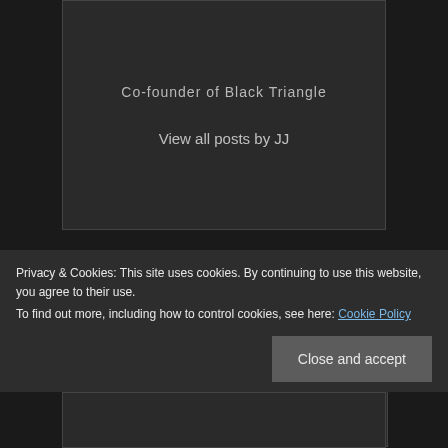Co-founder of Black Triangle
View all posts by JJ
< PREV POST
Shadow chancellor backs calls to prosecute
NEXT POST >
School admissions process 'discriminates
Privacy & Cookies: This site uses cookies. By continuing to use this website, you agree to their use.
To find out more, including how to control cookies, see here: Cookie Policy
Close and accept